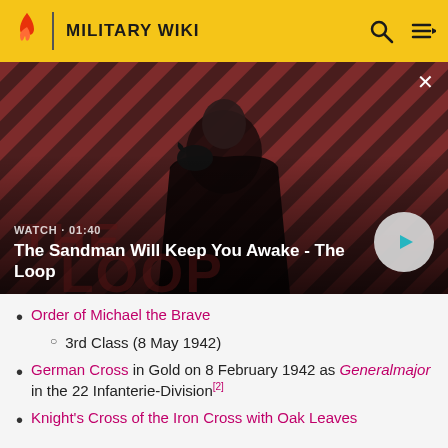MILITARY WIKI
[Figure (screenshot): Video thumbnail for 'The Sandman Will Keep You Awake - The Loop' showing a dark figure with a raven on shoulder against a red and black diagonal striped background. Duration shown as 01:40.]
Order of Michael the Brave
  • 3rd Class (8 May 1942)
German Cross in Gold on 8 February 1942 as Generalmajor in the 22 Infanterie-Division[2]
Knight's Cross of the Iron Cross with Oak Leaves